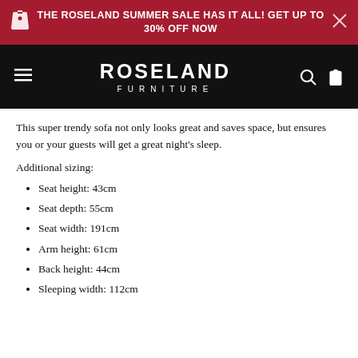THE ROSELAND SUMMER SALE HAS IT ALL! GET UP TO 30% OFF NOW
[Figure (logo): Roseland Furniture logo on black navigation bar with hamburger menu, search icon, and shopping bag icon]
This super trendy sofa not only looks great and saves space, but ensures you or your guests will get a great night's sleep.
Additional sizing:
Seat height: 43cm
Seat depth: 55cm
Seat width: 191cm
Arm height: 61cm
Back height: 44cm
Sleeping width: 112cm